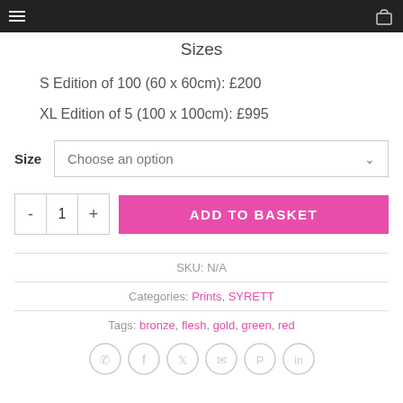Sizes
S Edition of 100 (60 x 60cm): £200
XL Edition of 5 (100 x 100cm): £995
Size  Choose an option
- 1 +  ADD TO BASKET
SKU: N/A
Categories: Prints, SYRETT
Tags: bronze, flesh, gold, green, red